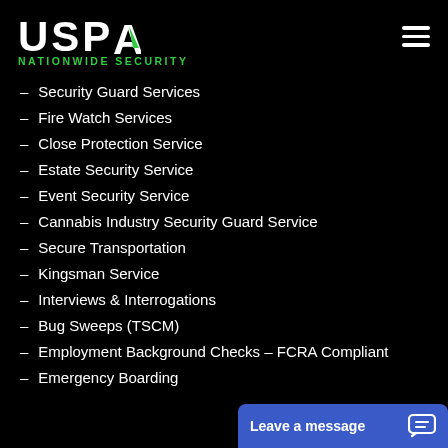[Figure (logo): USPA Nationwide Security logo — white bold USPA text with green triangle accent, green NATIONWIDE SECURITY subtitle]
Security Guard Services
Fire Watch Services
Close Protection Service
Estate Security Service
Event Security Service
Cannabis Industry Security Guard Service
Secure Transportation
Kingsman Service
Interviews & Interrogations
Bug Sweeps (TSCM)
Employment Background Checks – FCRA Compliant
Emergency Boarding
Leave a message